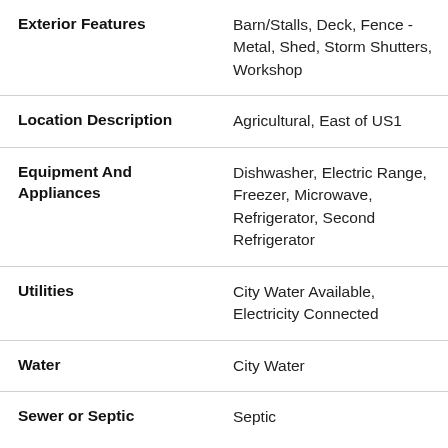| Field | Value |
| --- | --- |
| Exterior Features | Barn/Stalls, Deck, Fence - Metal, Shed, Storm Shutters, Workshop |
| Location Description | Agricultural, East of US1 |
| Equipment And Appliances | Dishwasher, Electric Range, Freezer, Microwave, Refrigerator, Second Refrigerator |
| Utilities | City Water Available, Electricity Connected |
| Water | City Water |
| Sewer or Septic | Septic |